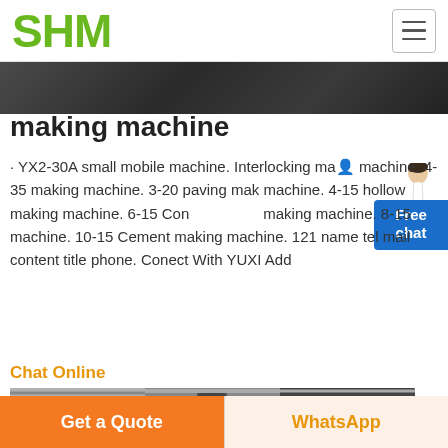SHM
[Figure (photo): Dark industrial/factory image strip at top of content area]
making machine
· YX2-30A small mobile machine. Interlocking making machine. 4-35 making machine. 3-20 paving making machine. 4-15 hollow making machine. 6-15 Conc making machine. 8-15 machine. 10-15 Cement making machine. 121 name tel mail content title phone. Conect With YUXI Add
Chat Online
[Figure (photo): Industrial machinery (large vertical mills/grinders) inside a factory building with red and black equipment]
Get a Quote | WhatsApp